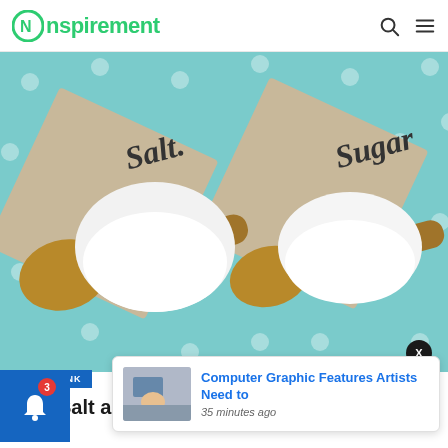Nspirement
[Figure (photo): Two wooden spoons with white crystalline salt and sugar on diamond-shaped kraft paper cards labeled 'Salt' and 'Sugar' in cursive, on a teal polka-dot background.]
FOOD & DRINK
[Figure (photo): Notification popup showing a thumbnail of a person at a computer, with title 'Computer Graphic Features Artists Need to' and timestamp '35 minutes ago']
High Salt and Sugar Intake May Be the